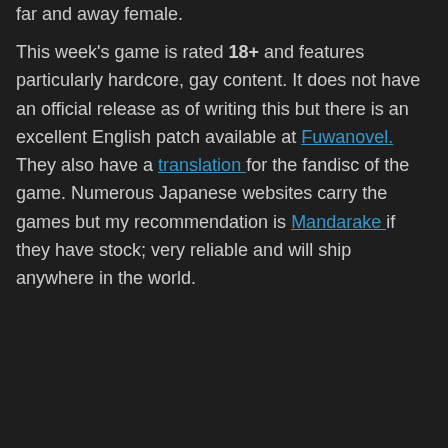far and away female.
This week's game is rated 18+ and features particularly hardcore, gay content. It does not have an official release as of writing this but there is an excellent English patch available at Fuwanovel. They also have a translation for the fandisc of the game. Numerous Japanese websites carry the games but my recommendation is Mandarake if they have stock; very reliable and will ship anywhere in the world.